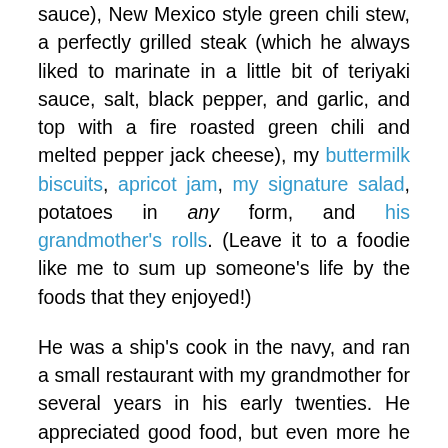sauce), New Mexico style green chili stew, a perfectly grilled steak (which he always liked to marinate in a little bit of teriyaki sauce, salt, black pepper, and garlic, and top with a fire roasted green chili and melted pepper jack cheese), my buttermilk biscuits, apricot jam, my signature salad, potatoes in any form, and his grandmother's rolls. (Leave it to a foodie like me to sum up someone's life by the foods that they enjoyed!)
He was a ship's cook in the navy, and ran a small restaurant with my grandmother for several years in his early twenties. He appreciated good food, but even more he appreciated the effort that you invested into making good food. It never went unnoticed. He was always very grateful for everything that he was given, and openly expressed that gratitude to those around him. That is perhaps the greatest lesson that he has left behind: to live